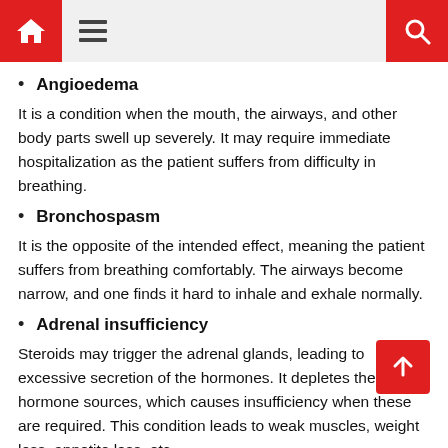[navigation bar with home, menu, and search icons]
Angioedema
It is a condition when the mouth, the airways, and other body parts swell up severely. It may require immediate hospitalization as the patient suffers from difficulty in breathing.
Bronchospasm
It is the opposite of the intended effect, meaning the patient suffers from breathing comfortably. The airways become narrow, and one finds it hard to inhale and exhale normally.
Adrenal insufficiency
Steroids may trigger the adrenal glands, leading to excessive secretion of the hormones. It depletes the hormone sources, which causes insufficiency when these are required. This condition leads to weak muscles, weight loss, appetite loss, etc.